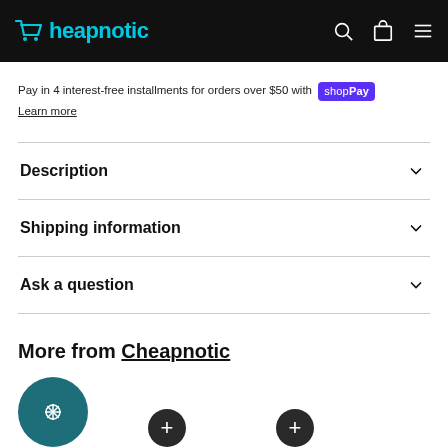Cheapnotic
Pay in 4 interest-free installments for orders over $50 with shop Pay
Learn more
Description
Shipping information
Ask a question
More from Cheapnotic
[Figure (other): Three product circles: one teal circle with snowflake icon, two dark circles with plus icons]